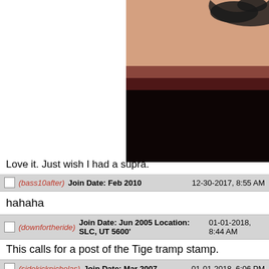[Figure (photo): Close-up photo of a tattoo on skin, upper portion showing skin with dark tattoo design visible, lower portion dark/black background]
Love it. Just wish I had a supra.
(bass10after)  Join Date: Feb 2010  12-30-2017, 8:55 AM
hahaha
(downfortheride)  Join Date: Jun 2005 Location: SLC, UT 5600'  01-01-2018, 8:44 AM
This calls for a post of the Tige tramp stamp.
(sidekicknicholas)  Join Date: Mar 2007  01-01-2018, 6:06 PM
Quote:
This calls for a post of the Tige tramp stamp.